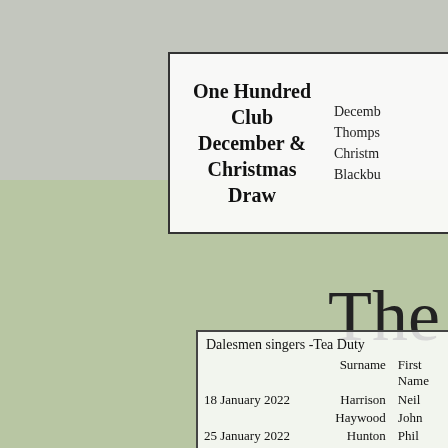One Hundred Club December & Christmas Draw
December Thompson Christmas Blackbu
The
|  | Surname | First Name |
| --- | --- | --- |
| Dalesmen singers -Tea Duty |  |  |
| 18 January 2022 | Harrison | Neil |
|  | Haywood | John |
| 25 January 2022 | Hunton | Phil |
|  | Jones | David |
| 1 February 2022 | Jones | Harold |
|  | Kerrison | Ron |
| 8 February 2022 | Kershaw | Neil |
|  | Kyle | Gerard |